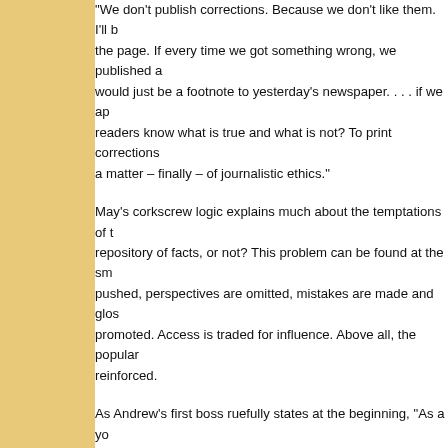"We don't publish corrections. Because we don't like them. I'll b the page. If every time we got something wrong, we published a would just be a footnote to yesterday's newspaper. . . . if we ap readers know what is true and what is not? To print corrections a matter – finally – of journalistic ethics."
May's corkscrew logic explains much about the temptations of t repository of facts, or not? This problem can be found at the sm pushed, perspectives are omitted, mistakes are made and glos promoted. Access is traded for influence. Above all, the popular reinforced.
As Andrew's first boss ruefully states at the beginning, "As a yo hammered at words. I wrenched them. Until it was kindly pointe wanted was something that was every day the same. The illusi sell. . . . Anything else and you'd stimulate people. Never do tha unhappiness."
The shallow and manipulative route is remarkably and speedily editors make room for more and more crap, promising themselv generate will give them the leverage to assign more serious, in- that happen. Laziness and deference to the lowest common de journalism we all claim to want, but so few seem to read.
"Delusions," says Le Roux at the play's end. "Does nobody se